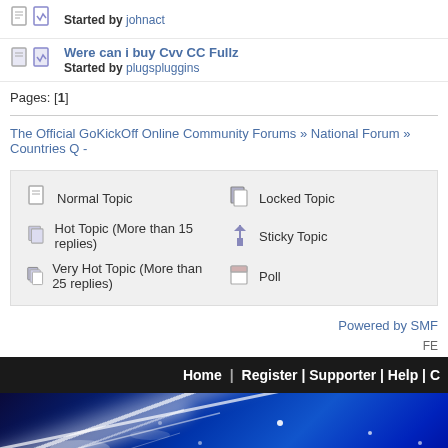Started by johnact
Were can i buy Cvv CC Fullz — Started by plugspluggins
Pages: [1]
The Official GoKickOff Online Community Forums » National Forum » Countries Q -
Normal Topic | Hot Topic (More than 15 replies) | Very Hot Topic (More than 25 replies) | Locked Topic | Sticky Topic | Poll
Powered by SMF
Home | Register | Supporter | Help | C